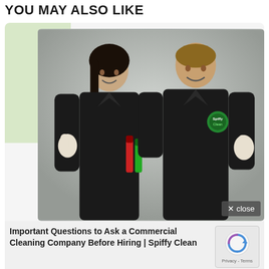YOU MAY ALSO LIKE
[Figure (photo): Two smiling people wearing black Spiffy Clean branded jackets giving thumbs up gestures. The person on the left holds cleaning spray bottles. Background is light gray studio.]
✕ close
Important Questions to Ask a Commercial Cleaning Company Before Hiring | Spiffy Clean